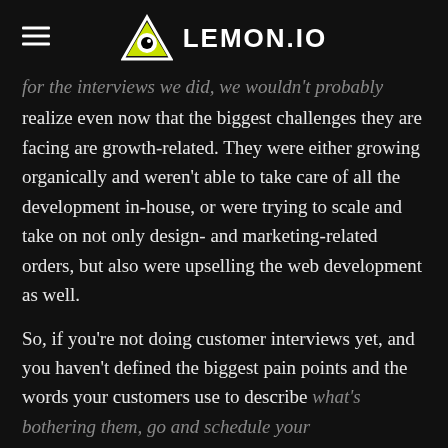LEMON.IO
for the interviews we did, we wouldn't probably realize even now that the biggest challenges they are facing are growth-related. They were either growing organically and weren't able to take care of all the development in-house, or were trying to scale and take on not only design- and marketing-related orders, but also were upselling the web development as well.
So, if you're not doing customer interviews yet, and you haven't defined the biggest pain points and the words your customers use to describe what's bothering them, go and schedule your